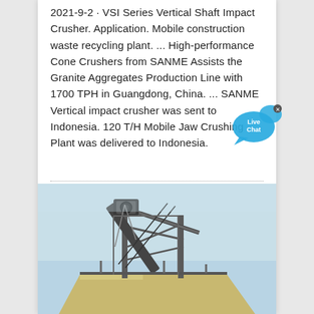2021-9-2 · VSI Series Vertical Shaft Impact Crusher. Application. Mobile construction waste recycling plant. ... High-performance Cone Crushers from SANME Assists the Granite Aggregates Production Line with 1700 TPH in Guangdong, China. ... SANME Vertical impact crusher was sent to Indonesia. 120 T/H Mobile Jaw Crushing Plant was delivered to Indonesia.
[Figure (photo): Photo of a mobile jaw crushing plant or conveyor structure against a blue sky, showing heavy industrial machinery with a large flat panel/hopper and elevated conveyor belt system]